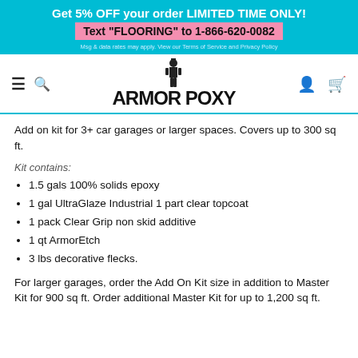Get 5% OFF your order LIMITED TIME ONLY! Text "FLOORING" to 1-866-620-0082 Msg & data rates may apply. View our Terms of Service and Privacy Policy
[Figure (logo): ArmorPoxy logo with knight figure between ARMOR and POXY text, navigation bar with hamburger menu, search icon, user icon, and cart icon]
Add on kit for 3+ car garages or larger spaces. Covers up to 300 sq ft.
Kit contains:
1.5 gals 100% solids epoxy
1 gal UltraGlaze Industrial 1 part clear topcoat
1 pack Clear Grip non skid additive
1 qt ArmorEtch
3 lbs decorative flecks.
For larger garages, order the Add On Kit size in addition to Master Kit for 900 sq ft. Order additional Master Kit for up to 1,200 sq ft.